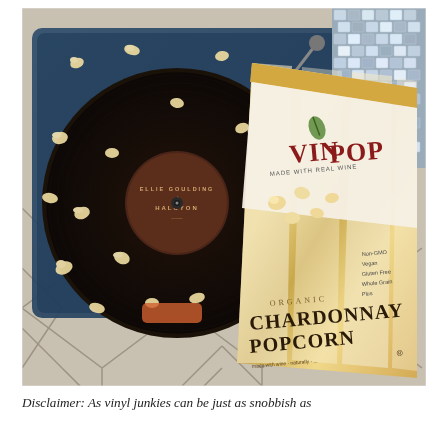[Figure (photo): Overhead photo of a vinyl record turntable with popcorn scattered on the record (Ellie Goulding - Halcyon), next to a bag of VinPop Organic Chardonnay Popcorn made with real wine, on a geometric patterned rug with a disco ball partially visible in the upper right corner.]
Disclaimer: As vinyl junkies can be just as snobbish as